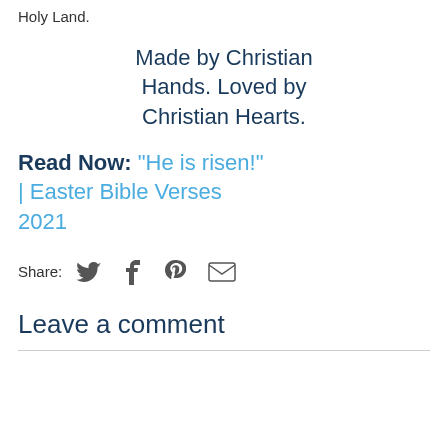Holy Land.
Made by Christian Hands. Loved by Christian Hearts.
Read Now: "He is risen!" | Easter Bible Verses 2021
Share:
Leave a comment